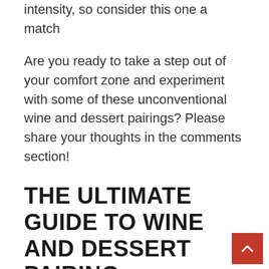intensity, so consider this one a match
Are you ready to take a step out of your comfort zone and experiment with some of these unconventional wine and dessert pairings? Please share your thoughts in the comments section!
THE ULTIMATE GUIDE TO WINE AND DESSERT PAIRING
Are you ready to take a step out of your comfort zone and experiment with some of these unconventional dessert and wine pairings? Share your thoughts with me in the